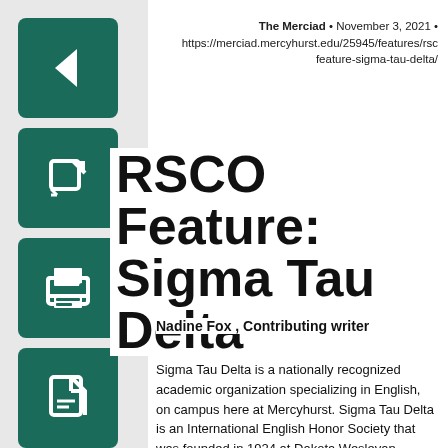The Merciad • November 3, 2021 • https://merciad.mercyhurst.edu/25945/features/rsco-feature-sigma-tau-delta/
RSCO Feature: Sigma Tau Delta
Nadine Fox , Contributing writer
Sigma Tau Delta is a nationally recognized academic organization specializing in English, on campus here at Mercyhurst. Sigma Tau Delta is an International English Honor Society that was founded in 1924 at Dakota Wesleyan University, to confer distinction for high achievement in English language, literature, and writing; and to foster literacy and all aspects of the discipline of English. With over 850 chapters in colleges and universities in the U.S. and abroad, Sigma Tau Delta is the most active honors organization in the English field and one of the